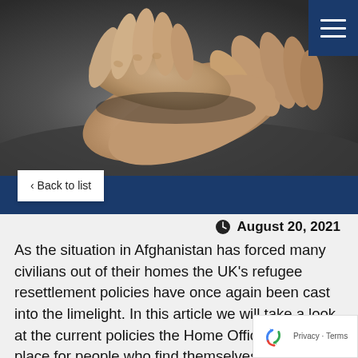[Figure (photo): Close-up photograph of two hands touching or holding together against a dark background, suggesting human connection or support.]
‹ Back to list
August 20, 2021
As the situation in Afghanistan has forced many civilians out of their homes the UK's refugee resettlement policies have once again been cast into the limelight. In this article we will take a look at the current policies the Home Office has in place for people who find themselves in this unfortunate situation, and analyse what has been said in terms of the